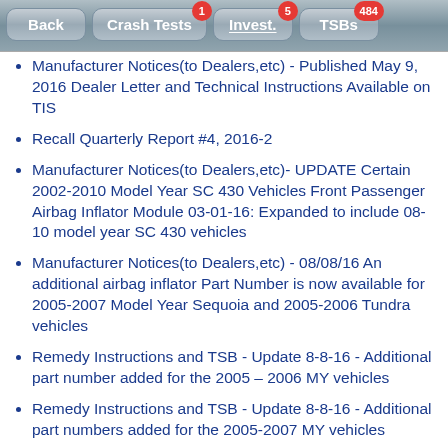[Figure (screenshot): Navigation bar with Back, Crash Tests (badge 1), Invest. (badge 5), TSBs (badge 484) buttons]
Manufacturer Notices(to Dealers,etc) - Published May 9, 2016 Dealer Letter and Technical Instructions Available on TIS
Recall Quarterly Report #4, 2016-2
Manufacturer Notices(to Dealers,etc)- UPDATE Certain 2002-2010 Model Year SC 430 Vehicles Front Passenger Airbag Inflator Module 03-01-16: Expanded to include 08-10 model year SC 430 vehicles
Manufacturer Notices(to Dealers,etc) - 08/08/16 An additional airbag inflator Part Number is now available for 2005-2007 Model Year Sequoia and 2005-2006 Tundra vehicles
Remedy Instructions and TSB - Update 8-8-16 - Additional part number added for the 2005 – 2006 MY vehicles
Remedy Instructions and TSB - Update 8-8-16 - Additional part numbers added for the 2005-2007 MY vehicles
Manufacturer Notices(to Dealers,etc) -